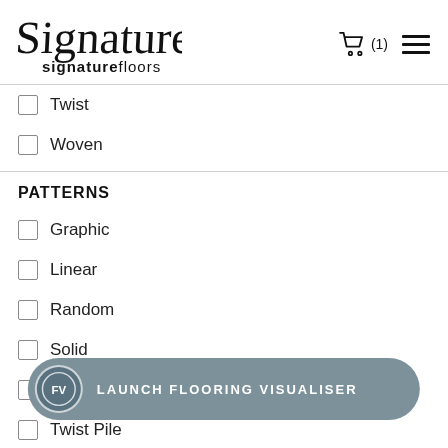[Figure (logo): Signature floors logo with cursive signature graphic and 'signaturefloors' wordmark]
Twist
Woven
PATTERNS
Graphic
Linear
Random
Solid
Stone /
Twist Pile
[Figure (other): Launch Flooring Visualiser button with FV circular icon]